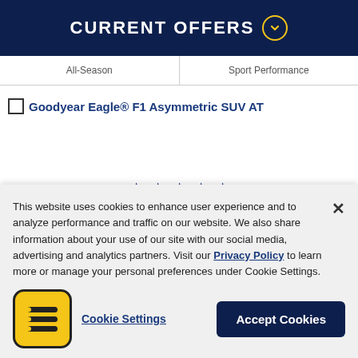CURRENT OFFERS
| All-Season | Sport Performance |
| --- | --- |
Goodyear Eagle® F1 Asymmetric SUV AT
★★★★★ 1 Review
Starting at
This website uses cookies to enhance user experience and to analyze performance and traffic on our website. We also share information about your use of our site with our social media, advertising and analytics partners. Visit our Privacy Policy to learn more or manage your personal preferences under Cookie Settings.
Cookie Settings
Accept Cookies